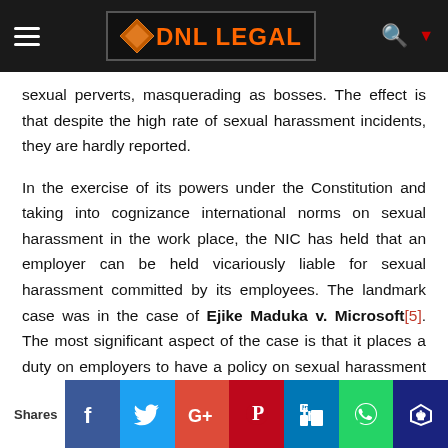DNL LEGAL & STYLE
sexual perverts, masquerading as bosses. The effect is that despite the high rate of sexual harassment incidents, they are hardly reported.
In the exercise of its powers under the Constitution and taking into cognizance international norms on sexual harassment in the work place, the NIC has held that an employer can be held vicariously liable for sexual harassment committed by its employees. The landmark case was in the case of Ejike Maduka v. Microsoft[5]. The most significant aspect of the case is that it places a duty on employers to have a policy on sexual harassment and to investigate cases in line with the policy where they are reported.
Shares [social media icons: Facebook, Twitter, Google+, Pinterest, LinkedIn, WhatsApp, Crown]